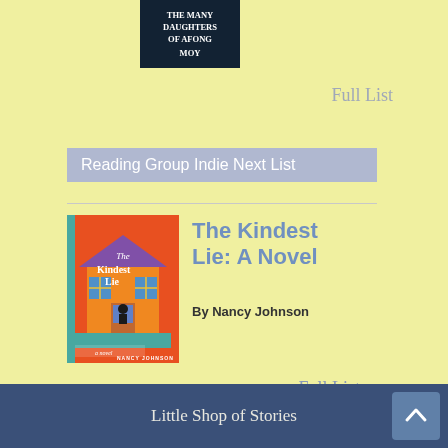[Figure (illustration): Partial book cover for 'The Many Daughters of Afong Moy' showing dark background with white text]
Full List
Reading Group Indie Next List
[Figure (illustration): Book cover for 'The Kindest Lie' by Nancy Johnson featuring a colorful illustrated house with orange background]
The Kindest Lie: A Novel
By Nancy Johnson
Full List
Little Shop of Stories